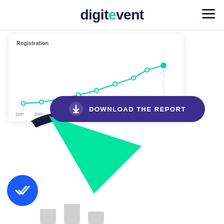[Figure (logo): Digitevent logo with teal dot on the 'i' and dark navy text, with hamburger menu icon on the right]
[Figure (line-chart): Line chart showing increasing trend from 1pm to 9pm, with teal line and circular data points on white card background]
[Figure (infographic): Download the Report button in dark purple pill shape with download arrow icon and white bold text DOWNLOAD THE REPORT, overlapping green triangle shape and dark navy swoosh shape]
[Figure (infographic): Blue circle with double white checkmark icon at bottom left, with partial grey bar chart shapes visible at bottom]